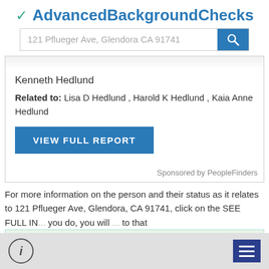✔ AdvancedBackgroundChecks
121 Pflueger Ave, Glendora CA 91741
Kenneth Hedlund
Related to: Lisa D Hedlund , Harold K Hedlund , Kaia Anne Hedlund
VIEW FULL REPORT
Sponsored by PeopleFinders
For more information on the person and their status as it relates to 121 Pflueger Ave, Glendora, CA 91741, click on the SEE FULL IN... you do, you will ... to that
[Figure (screenshot): Ad banner: Find Nursing Home Abuse]
i  ☰